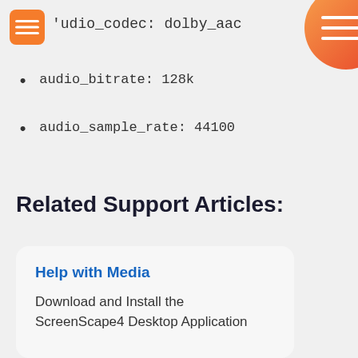audio_codec: dolby_aac
audio_bitrate: 128k
audio_sample_rate: 44100
Related Support Articles:
Help with Media
Download and Install the ScreenScape4 Desktop Application